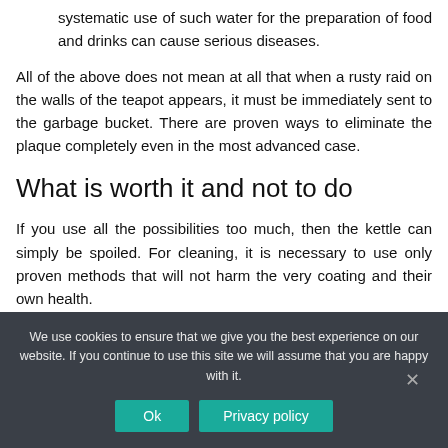systematic use of such water for the preparation of food and drinks can cause serious diseases.
All of the above does not mean at all that when a rusty raid on the walls of the teapot appears, it must be immediately sent to the garbage bucket. There are proven ways to eliminate the plaque completely even in the most advanced case.
What is worth it and not to do
If you use all the possibilities too much, then the kettle can simply be spoiled. For cleaning, it is necessary to use only proven methods that will not harm the very coating and their own health.
We use cookies to ensure that we give you the best experience on our website. If you continue to use this site we will assume that you are happy with it.